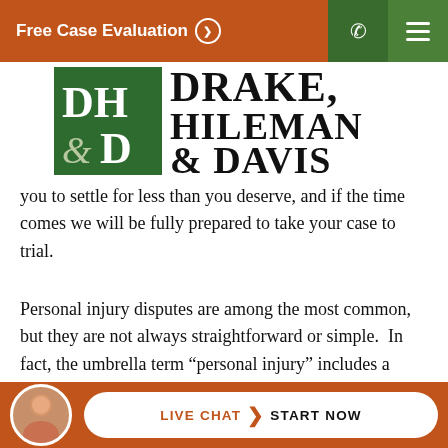Free Case Evaluation ❯
[Figure (logo): Drake, Hileman & Davis law firm logo with green square containing DH&D initials and large serif text reading DRAKE, HILEMAN & DAVIS]
you to settle for less than you deserve, and if the time comes we will be fully prepared to take your case to trial.
Personal injury disputes are among the most common, but they are not always straightforward or simple.  In fact, the umbrella term “personal injury” includes a broad range of cases that each require a different appro...
LIVE CHAT ❯ START NOW